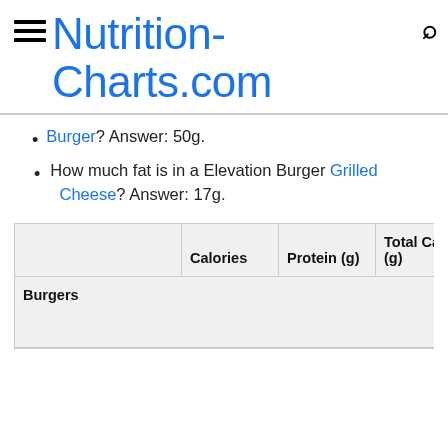Nutrition-Charts.com
Burger? Answer: 50g.
How much fat is in a Elevation Burger Grilled Cheese? Answer: 17g.
|  | Calories | Protein (g) | Total Carbs (g) | Sodiu (mg) |
| --- | --- | --- | --- | --- |
| Burgers |  |  |  |  |